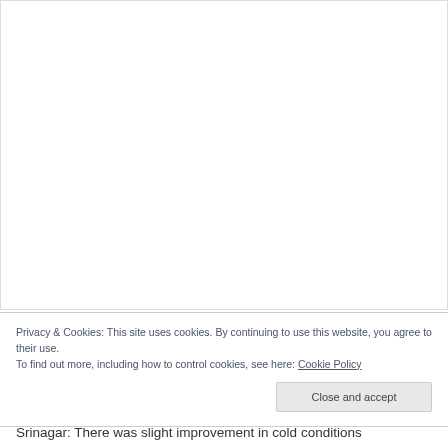[Figure (other): Large blank white area representing an image/advertisement placeholder]
Privacy & Cookies: This site uses cookies. By continuing to use this website, you agree to their use.
To find out more, including how to control cookies, see here: Cookie Policy
Close and accept
Srinagar: There was slight improvement in cold conditions